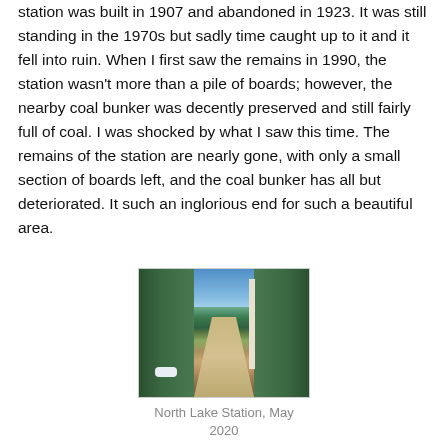station was built in 1907 and abandoned in 1923. It was still standing in the 1970s but sadly time caught up to it and it fell into ruin. When I first saw the remains in 1990, the station wasn't more than a pile of boards; however, the nearby coal bunker was decently preserved and still fairly full of coal. I was shocked by what I saw this time. The remains of the station are nearly gone, with only a small section of boards left, and the coal bunker has all but deteriorated. It such an inglorious end for such a beautiful area.
[Figure (photo): A dirt road or trail running through a forest with green coniferous and birch trees on both sides. Blue sky visible above. Some snow patches visible on the left side of the road. Photo taken in May 2020.]
North Lake Station, May 2020